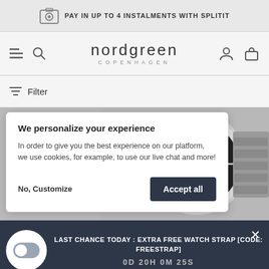PAY IN UP TO 4 INSTALMENTS WITH SPLITIT
[Figure (logo): Nordgreen Copenhagen logo in navigation bar]
Filter
We personalize your experience
In order to give you the best experience on our platform, we use cookies, for example, to use our live chat and more!
No, Customize
Accept all
[Figure (photo): Close-up photo of a Nordgreen watch with dark dial and steel bracelet]
LAST CHANCE TODAY : EXTRA FREE WATCH STRAP [CODE: FREESTRAP]
0D 20H 0M 25S